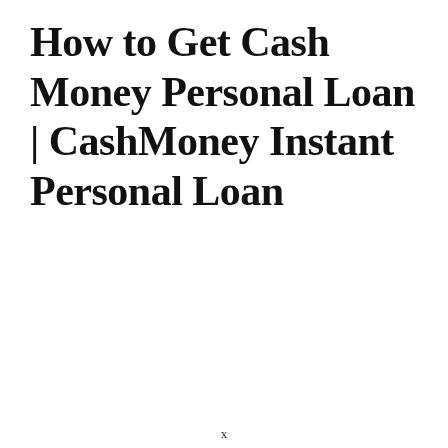How to Get Cash Money Personal Loan | CashMoney Instant Personal Loan
x